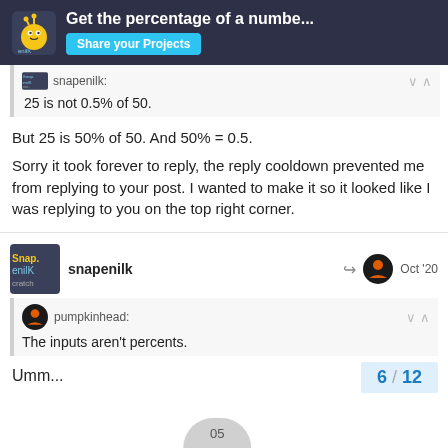Get the percentage of a numbe... | Share your Projects
snapenilk: 25 is not 0.5% of 50.
But 25 is 50% of 50. And 50% = 0.5.
Sorry it took forever to reply, the reply cooldown prevented me from replying to your post. I wanted to make it so it looked like I was replying to you on the top right corner.
snapenilk   Oct '20
pumpkinhead: The inputs aren't percents.
Umm...
6 / 12